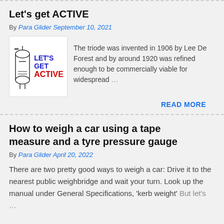Let's get ACTIVE
By Para Glider September 10, 2021
[Figure (illustration): Thumbnail image showing a vacuum tube schematic on the left and text reading LET'S GET ACTIVE on the right with blue and red lettering]
The triode was invented in 1906 by Lee De Forest and by around 1920 was refined enough to be commercially viable for widespread …
READ MORE
How to weigh a car using a tape measure and a tyre pressure gauge
By Para Glider April 20, 2022
There are two pretty good ways to weigh a car: Drive it to the nearest public weighbridge and wait your turn. Look up the manual under General Specifications, 'kerb weight' But let's …